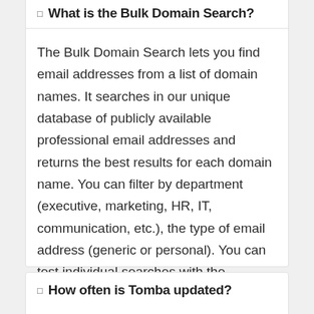What is the Bulk Domain Search?
The Bulk Domain Search lets you find email addresses from a list of domain names. It searches in our unique database of publicly available professional email addresses and returns the best results for each domain name. You can filter by department (executive, marketing, HR, IT, communication, etc.), the type of email address (generic or personal). You can test individual searches with the individual
How often is Tomba updated?